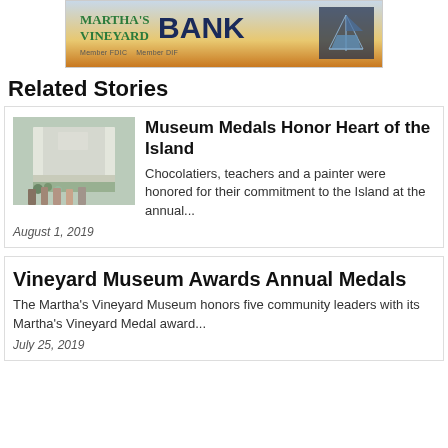[Figure (logo): Martha's Vineyard Bank advertisement banner with teal/green text logo, large dark blue BANK text, sailing ship graphic, and Member FDIC Member DIF text on gradient background]
Related Stories
[Figure (photo): Group of people standing in front of a large white historic building on a sunny day]
Museum Medals Honor Heart of the Island
Chocolatiers, teachers and a painter were honored for their commitment to the Island at the annual...
August 1, 2019
Vineyard Museum Awards Annual Medals
The Martha's Vineyard Museum honors five community leaders with its Martha's Vineyard Medal award...
July 25, 2019